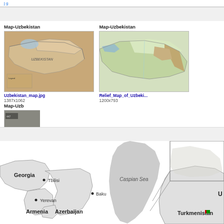[Figure (screenshot): Top navigation bar with a blue link]
[Figure (screenshot): Gray section header bar]
Map-Uzbekistan
[Figure (map): Thumbnail of Uzbekistan political/administrative map (tan/beige coloring)]
Uzbekistan_map.jpg
1387x1062
Map-Uzbekistan
[Figure (map): Thumbnail of Relief Map of Uzbekistan (green/brown terrain coloring)]
Relief_Map_of_Uzbeki...
1200x793
Map-Uzb
[Figure (map): Partial thumbnail of third Uzbekistan map (dark/gray coloring)]
Uzbekis...
3008x19...
[Figure (screenshot): Second gray section header bar]
[Figure (map): Large map showing Caspian Sea region with Georgia, Armenia, Azerbaijan, Turkmenistan labels and cities Tbilisi, Yerevan, Baku]